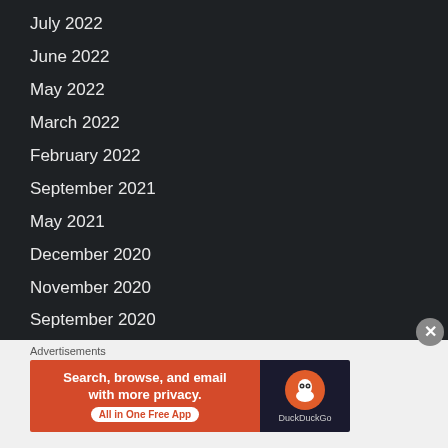July 2022
June 2022
May 2022
March 2022
February 2022
September 2021
May 2021
December 2020
November 2020
September 2020
July 2020
May 2020
April 2020
March 2020
July 2018
[Figure (screenshot): DuckDuckGo advertisement banner: 'Search, browse, and email with more privacy. All in One Free App' with DuckDuckGo logo on dark background]